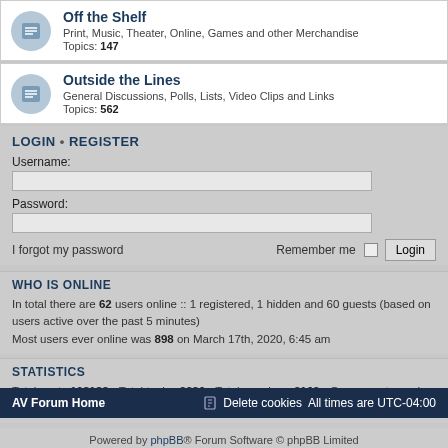Off the Shelf — Print, Music, Theater, Online, Games and other Merchandise Topics: 147
Outside the Lines — General Discussions, Polls, Lists, Video Clips and Links Topics: 562
LOGIN • REGISTER
Username:
Password:
I forgot my password
Remember me  Login
WHO IS ONLINE
In total there are 62 users online :: 1 registered, 1 hidden and 60 guests (based on users active over the past 5 minutes)
Most users ever online was 898 on March 17th, 2020, 6:45 am
STATISTICS
Total posts 108183 • Total topics 2286 • Total members 2162 • Our newest member Exer6tunisia
AV Forum Home   Delete cookies   All times are UTC-04:00
Powered by phpBB® Forum Software © phpBB Limited